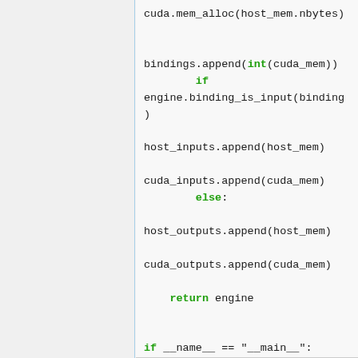[Figure (screenshot): Python source code snippet showing CUDA memory allocation, bindings, host/cuda inputs/outputs appending, and a main block calling PrepareEngine and Inference.]